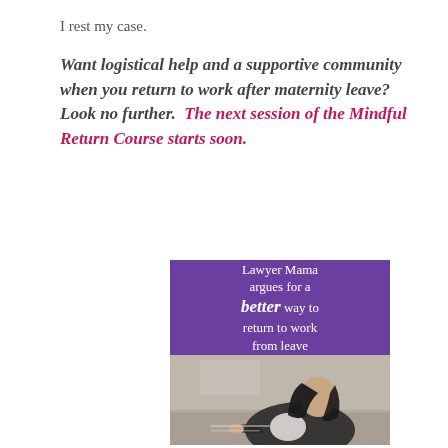I rest my case.
Want logistical help and a supportive community when you return to work after maternity leave?  Look no further.  The next session of the Mindful Return Course starts soon.
[Figure (infographic): Promotional image for Lawyer Mama blog post. Purple banner at top reads: 'Lawyer Mama argues for a better way to return to work from leave'. Below is a photo of a dark-haired woman in a black blazer leaning over a desk writing.]